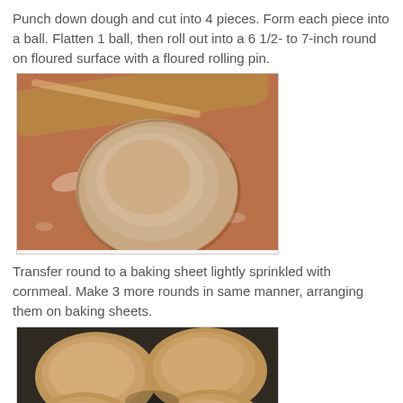Punch down dough and cut into 4 pieces. Form each piece into a ball. Flatten 1 ball, then roll out into a 6 1/2- to 7-inch round on floured surface with a floured rolling pin.
[Figure (photo): A round flattened dough ball rolled out on a reddish-brown floured surface, with a wooden rolling pin visible in the upper portion of the image.]
Transfer round to a baking sheet lightly sprinkled with cornmeal. Make 3 more rounds in same manner, arranging them on baking sheets.
[Figure (photo): Four round flat dough rounds arranged on a dark baking sheet lightly dusted with cornmeal.]